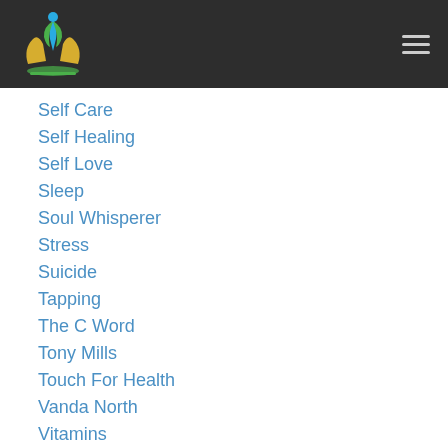Logo and navigation header
Self Care
Self Healing
Self Love
Sleep
Soul Whisperer
Stress
Suicide
Tapping
The C Word
Tony Mills
Touch For Health
Vanda North
Vitamins
Warrior Woman
Weight Management
Which Therapy?
Work Life Balance